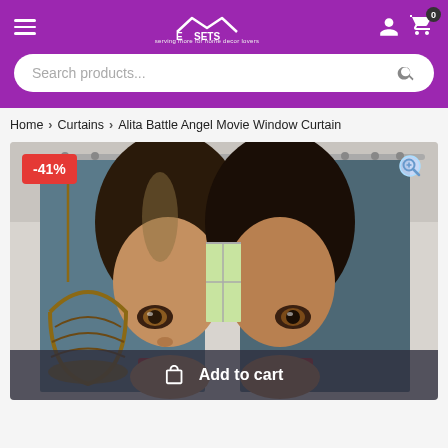E...SETS - navigation header with search bar
Home > Curtains > Alita Battle Angel Movie Window Curtain
[Figure (photo): Product photo of Alita Battle Angel Movie Window Curtain hung on a curtain rod, showing the face of Alita character split across two curtain panels. A -41% discount badge is shown in the top-left corner and a zoom icon in the top-right. An 'Add to cart' button overlay appears at the bottom.]